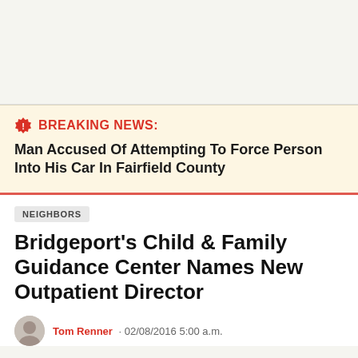BREAKING NEWS: Man Accused Of Attempting To Force Person Into His Car In Fairfield County
NEIGHBORS
Bridgeport's Child & Family Guidance Center Names New Outpatient Director
Tom Renner · 02/08/2016 5:00 a.m.